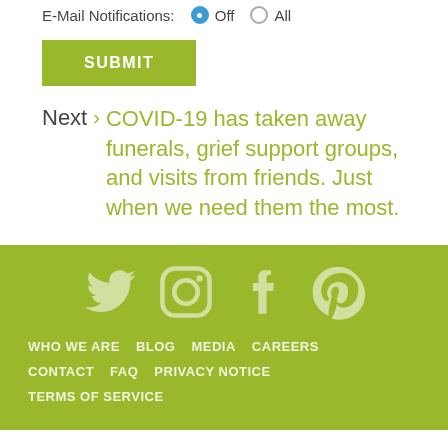E-Mail Notifications: Off  All
SUBMIT
Next > COVID-19 has taken away funerals, grief support groups, and visits from friends. Just when we need them the most.
[Figure (illustration): Footer with social media icons (Twitter, Instagram, Facebook, Pinterest) and navigation links: WHO WE ARE, BLOG, MEDIA, CAREERS, CONTACT, FAQ, PRIVACY NOTICE, TERMS OF SERVICE on a yellow-green background.]